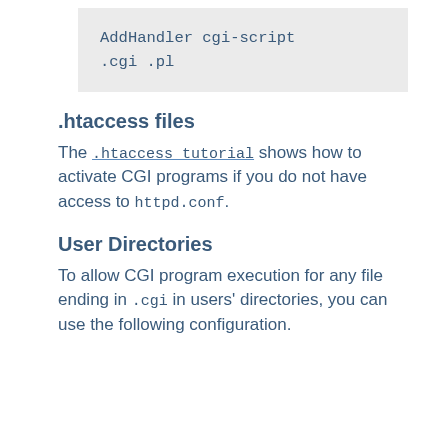tells the server to treat all files with the cgi or pl extension as CGI programs:
AddHandler cgi-script .cgi .pl
.htaccess files
The .htaccess tutorial shows how to activate CGI programs if you do not have access to httpd.conf.
User Directories
To allow CGI program execution for any file ending in .cgi in users' directories, you can use the following configuration.